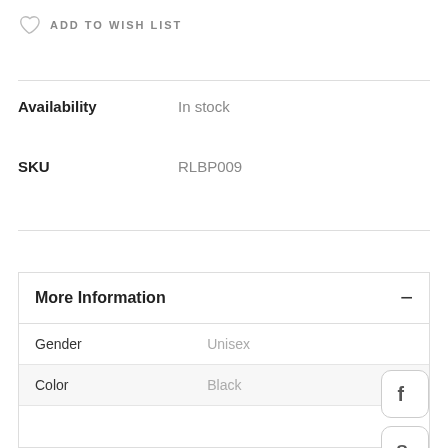ADD TO WISH LIST
Availability    In stock
SKU    RLBP009
More Information
|  |  |
| --- | --- |
| Gender | Unisex |
| Color | Black |